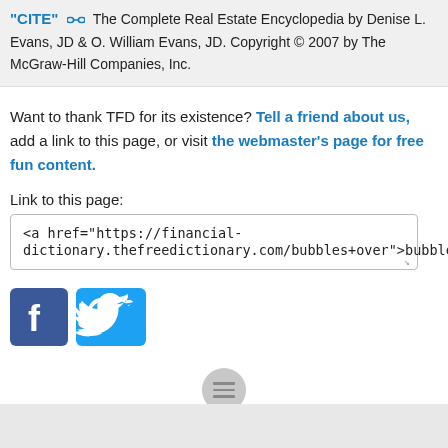"CITE" [link icon] The Complete Real Estate Encyclopedia by Denise L. Evans, JD & O. William Evans, JD. Copyright © 2007 by The McGraw-Hill Companies, Inc.
Want to thank TFD for its existence? Tell a friend about us, add a link to this page, or visit the webmaster's page for free fun content.
Link to this page:
<a href="https://financial-dictionary.thefreedictionary.com/bubbles+over">bubble</a>
[Figure (logo): Facebook logo button (blue square with white 'f') and Twitter logo button (blue bird icon)]